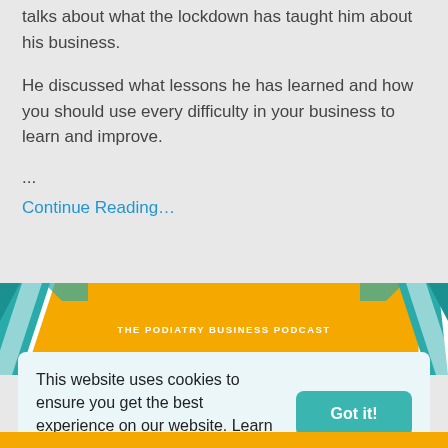talks about what the lockdown has taught him about his business.
He discussed what lessons he has learned and how you should use every difficulty in your business to learn and improve.
...
Continue Reading…
[Figure (illustration): The Podiatry Business Podcast banner with teal chevron decorations on left and right and gold/yellow background with white text]
This website uses cookies to ensure you get the best experience on our website. Learn more